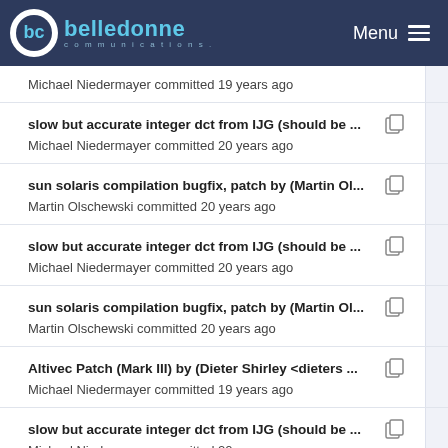belledonne communications — Menu
Michael Niedermayer committed 19 years ago
slow but accurate integer dct from IJG (should be ...
Michael Niedermayer committed 20 years ago
sun solaris compilation bugfix, patch by (Martin Ol...
Martin Olschewski committed 20 years ago
slow but accurate integer dct from IJG (should be ...
Michael Niedermayer committed 20 years ago
sun solaris compilation bugfix, patch by (Martin Ol...
Martin Olschewski committed 20 years ago
Altivec Patch (Mark III) by (Dieter Shirley <dieters ...
Michael Niedermayer committed 19 years ago
slow but accurate integer dct from IJG (should be ...
Michael Niedermayer committed 20 years ago